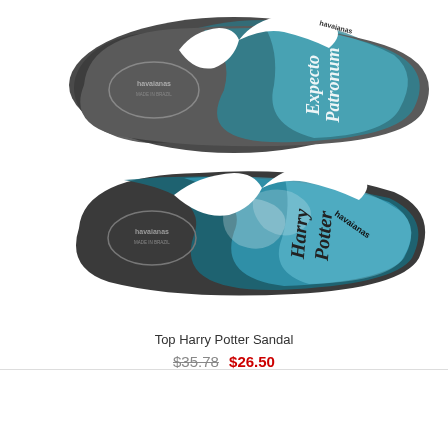[Figure (photo): Two Havaianas Harry Potter themed flip flop sandals. Top sandal shows 'Expecto Patronum' text on dark grey/blue sole with white straps and Havaianas logo. Bottom sandal shows 'Harry Potter' text on teal/blue smoky patterned sole with white straps and Havaianas logo on the strap.]
Top Harry Potter Sandal
$35.78  $26.50